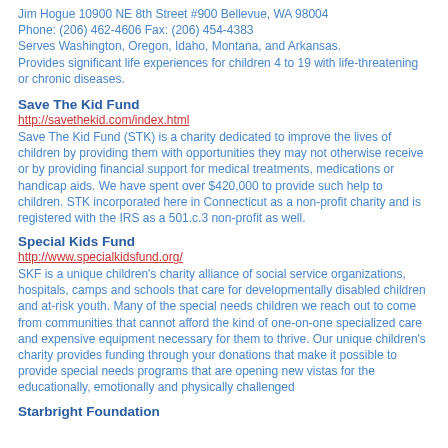Jim Hogue 10900 NE 8th Street #900 Bellevue, WA 98004 Phone: (206) 462-4606 Fax: (206) 454-4383 Serves Washington, Oregon, Idaho, Montana, and Arkansas. Provides significant life experiences for children 4 to 19 with life-threatening or chronic diseases.
Save The Kid Fund
http://savethekid.com/index.html
Save The Kid Fund (STK) is a charity dedicated to improve the lives of children by providing them with opportunities they may not otherwise receive or by providing financial support for medical treatments, medications or handicap aids. We have spent over $420,000 to provide such help to children. STK incorporated here in Connecticut as a non-profit charity and is registered with the IRS as a 501.c.3 non-profit as well.
Special Kids Fund
http://www.specialkidsfund.org/
SKF is a unique children's charity alliance of social service organizations, hospitals, camps and schools that care for developmentally disabled children and at-risk youth. Many of the special needs children we reach out to come from communities that cannot afford the kind of one-on-one specialized care and expensive equipment necessary for them to thrive. Our unique children's charity provides funding through your donations that make it possible to provide special needs programs that are opening new vistas for the educationally, emotionally and physically challenged
Starbright Foundation